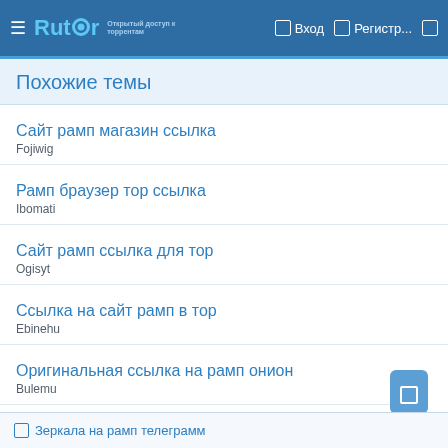Rutor — Вход — Регистр...
Похожие темы
Сайт рамп магазин ссылка
Fojiwig
Рамп браузер тор ссылка
Ibomati
Сайт рамп ссылка для тор
Ogisyt
Ссылка на сайт рамп в тор
Ebinehu
Оригинальная ссылка на рамп онион
Bulemu
Зеркала на рамп телеграмм